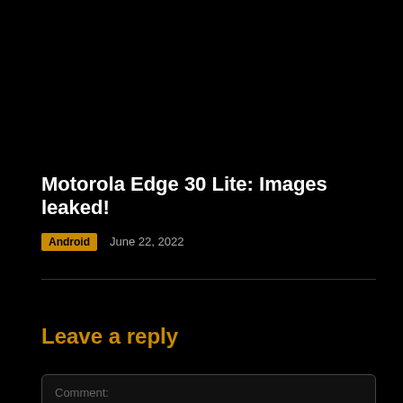Motorola Edge 30 Lite: Images leaked!
Android   June 22, 2022
Leave a reply
Comment: